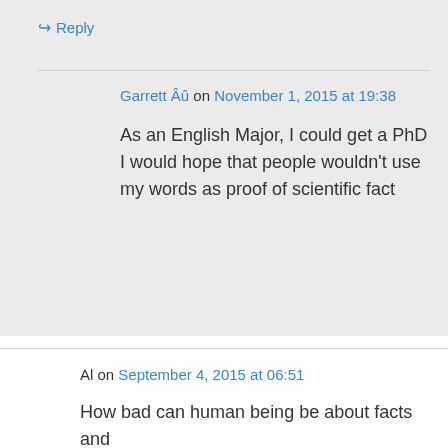↪ Reply
Garrett Âû on November 1, 2015 at 19:38
As an English Major, I could get a PhD
I would hope that people wouldn't use my words as proof of scientific fact
Al on September 4, 2015 at 06:51
How bad can human being be about facts and